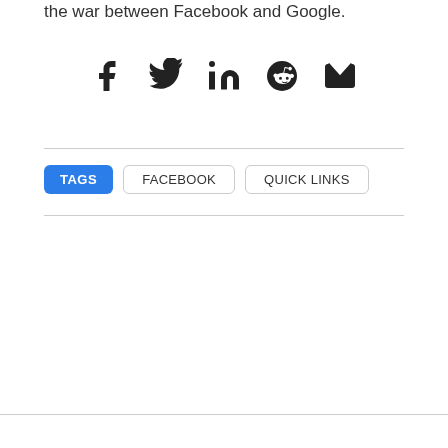the war between Facebook and Google.
[Figure (other): Social sharing icons: Facebook (f), Twitter (bird), LinkedIn (in), Reddit (alien), Email (envelope)]
TAGS   FACEBOOK   QUICK LINKS